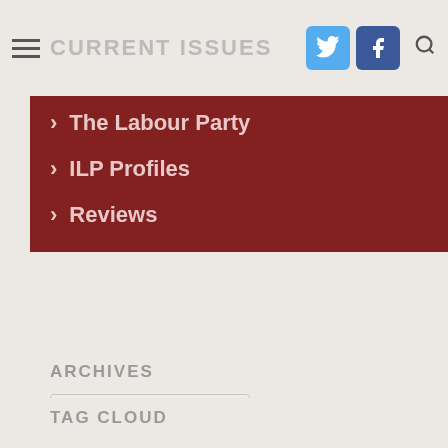CURRENT ISSUES
> The Labour Party
> ILP Profiles
> Reviews
ARCHIVES
Select Month
TAG CLOUD
Campaigns Capitalism Co-operatives and mutuality Coronavirus Covid-19 Democracy Economics Education Election Ethical socialism Financial crisis Health